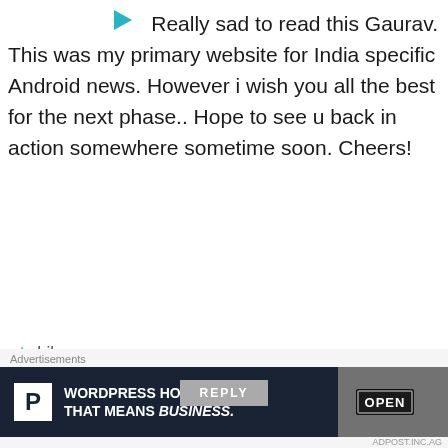[Figure (illustration): Small teal/cyan play button triangle icon at top]
Really sad to read this Gaurav. This was my primary website for India specific Android news. However i wish you all the best for the next phase.. Hope to see u back in action somewhere sometime soon. Cheers!
★ Like
REPLY
[Figure (illustration): Purple geometric avatar icon for user Dheeraj]
Dheeraj
JUNE 15, 2015 AT 12:48 PM
Advertisements
[Figure (screenshot): WordPress Hosting advertisement banner with 'P' logo and OPEN sign photo. Text: WORDPRESS HOSTING THAT MEANS BUSINESS.]